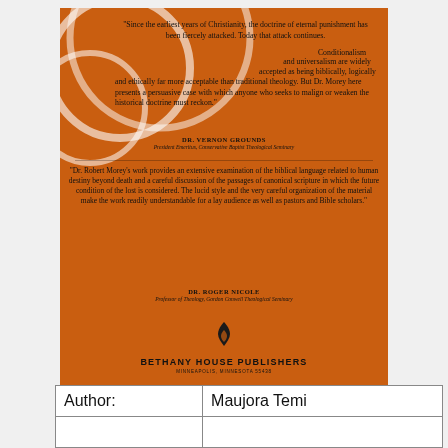[Figure (photo): Back cover of a book published by Bethany House Publishers on orange background with white decorative circles, containing two endorsement quotes from Dr. Vernon Grounds and Dr. Roger Nicole about a work by Dr. Robert Morey on eternal punishment and biblical language.]
| Author: | Maujora Temi |
|  |  |